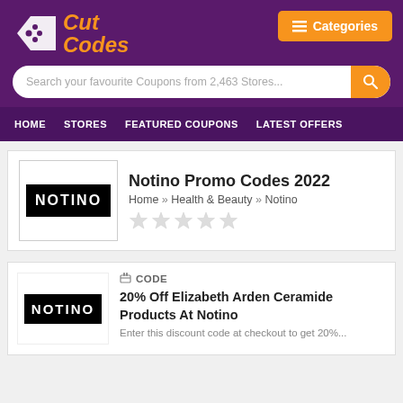[Figure (logo): Cut Codes logo with tag icon and orange text on purple background]
Search your favourite Coupons from 2,463 Stores...
HOME   STORES   FEATURED COUPONS   LATEST OFFERS
Notino Promo Codes 2022
Home » Health & Beauty » Notino
[Figure (logo): Notino logo: white text NOTINO on black background]
CODE
20% Off Elizabeth Arden Ceramide Products At Notino
Enter this discount code at checkout to get 20%...